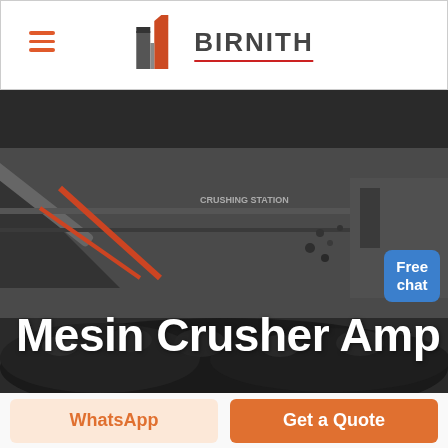[Figure (logo): Birnith company logo with orange/grey building icon and brand name BIRNITH with red underline, hamburger menu icon on the left]
[Figure (photo): Industrial mobile stone crusher machine photographed in a quarry setting with crushed rocks/coal in the foreground, dark moody industrial atmosphere]
Mesin Crusher Amp
Free chat
WhatsApp
Get a Quote